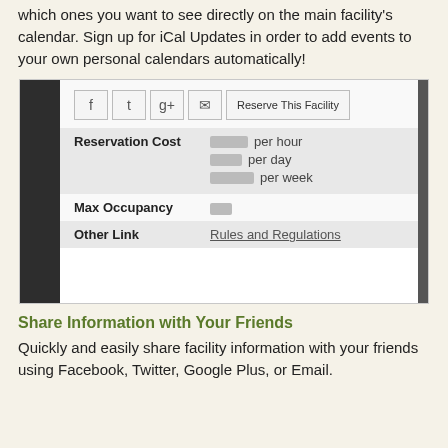which ones you want to see directly on the main facility's calendar. Sign up for iCal Updates in order to add events to your own personal calendars automatically!
[Figure (screenshot): Screenshot of a facility reservation interface showing social sharing buttons (Facebook, Twitter, Google Plus, Email), a Reserve This Facility button, and a table with Reservation Cost (blurred prices per hour, per day, per week), Max Occupancy (blurred), and Other Link (Rules and Regulations).]
Share Information with Your Friends
Quickly and easily share facility information with your friends using Facebook, Twitter, Google Plus, or Email.